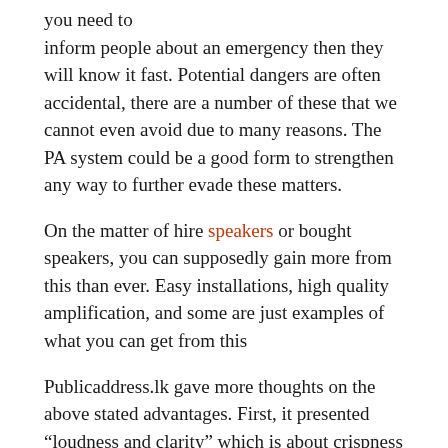you need to inform people about an emergency then they will know it fast. Potential dangers are often accidental, there are a number of these that we cannot even avoid due to many reasons. The PA system could be a good form to strengthen any way to further evade these matters.
On the matter of hire speakers or bought speakers, you can supposedly gain more from this than ever. Easy installations, high quality amplification, and some are just examples of what you can get from this
Publicaddress.lk gave more thoughts on the above stated advantages. First, it presented “loudness and clarity” which is about crispness of delivered messages through the PA. It may also have little to no noise without any interruptions. Amplification is now part of this. With notable companies, you could get superior sound too. It is even wireless for better performance.
The last things that you can get would be easy installation and